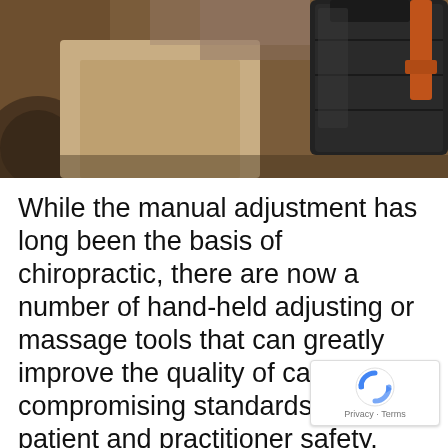[Figure (photo): Close-up photo of a person in beige/tan jacket holding a black hard-shell tool/medical case with an orange strap, with gym equipment visible in the blurred background.]
While the manual adjustment has long been the basis of chiropractic, there are now a number of hand-held adjusting or massage tools that can greatly improve the quality of care without compromising standards for both patient and practitioner safety.
Common misconceptions